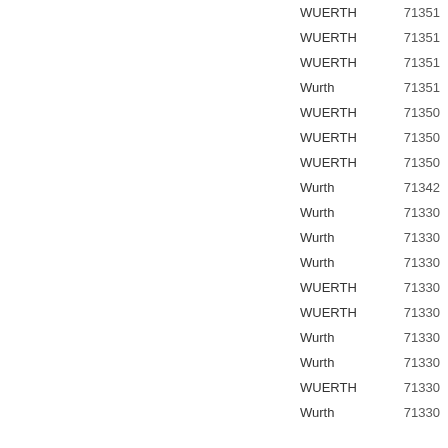| Name | Code |
| --- | --- |
| WUERTH | 71351 |
| WUERTH | 71351 |
| WUERTH | 71351 |
| Wurth | 71351 |
| WUERTH | 71350 |
| WUERTH | 71350 |
| WUERTH | 71350 |
| Wurth | 71342 |
| Wurth | 71330 |
| Wurth | 71330 |
| Wurth | 71330 |
| WUERTH | 71330 |
| WUERTH | 71330 |
| Wurth | 71330 |
| Wurth | 71330 |
| WUERTH | 71330 |
| Wurth | 71330 |